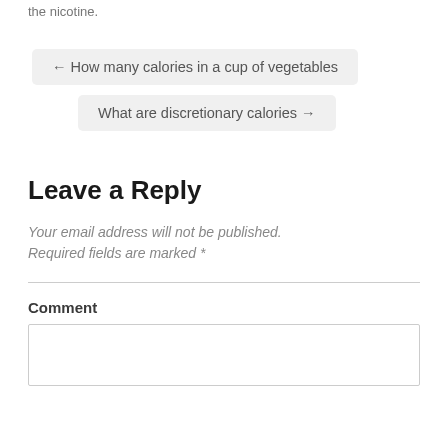the nicotine.
← How many calories in a cup of vegetables
What are discretionary calories →
Leave a Reply
Your email address will not be published. Required fields are marked *
Comment